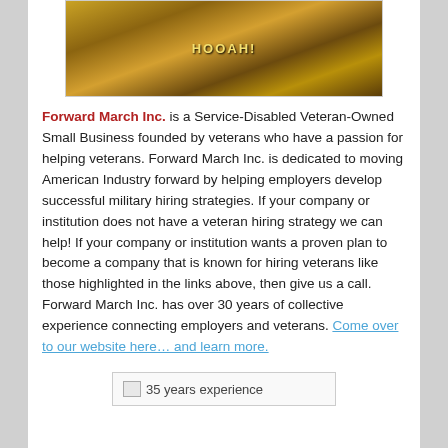[Figure (photo): Two gold military challenge coins with text 'HOOAH!' on a dark red wooden surface]
Forward March Inc. is a Service-Disabled Veteran-Owned Small Business founded by veterans who have a passion for helping veterans. Forward March Inc. is dedicated to moving American Industry forward by helping employers develop successful military hiring strategies. If your company or institution does not have a veteran hiring strategy we can help! If your company or institution wants a proven plan to become a company that is known for hiring veterans like those highlighted in the links above, then give us a call. Forward March Inc. has over 30 years of collective experience connecting employers and veterans. Come over to our website here… and learn more.
[Figure (photo): Image labeled '35 years experience' (broken image placeholder)]